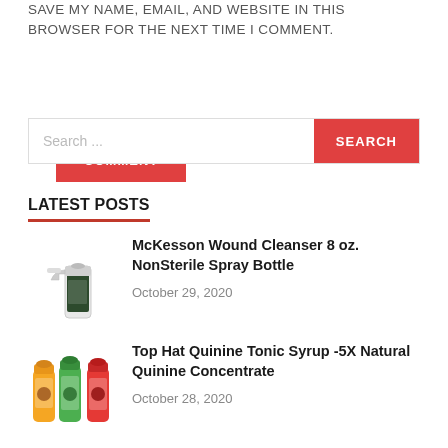SAVE MY NAME, EMAIL, AND WEBSITE IN THIS BROWSER FOR THE NEXT TIME I COMMENT.
POST COMMENT
Search...
SEARCH
LATEST POSTS
[Figure (photo): Spray bottle product image for McKesson Wound Cleanser]
McKesson Wound Cleanser 8 oz. NonSterile Spray Bottle
October 29, 2020
[Figure (photo): Three colorful tonic syrup bottles for Top Hat Quinine Tonic Syrup]
Top Hat Quinine Tonic Syrup -5X Natural Quinine Concentrate
October 28, 2020